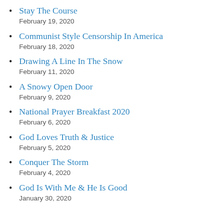Stay The Course
February 19, 2020
Communist Style Censorship In America
February 18, 2020
Drawing A Line In The Snow
February 11, 2020
A Snowy Open Door
February 9, 2020
National Prayer Breakfast 2020
February 6, 2020
God Loves Truth & Justice
February 5, 2020
Conquer The Storm
February 4, 2020
God Is With Me & He Is Good
January 30, 2020